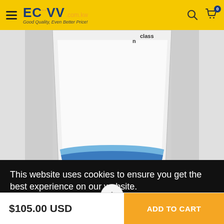ECVV .com.kw Good Quality, Even Better Price!
[Figure (photo): A white box product partially visible, with blue wave design at the bottom and text 'class n' at the top]
This website uses cookies to ensure you get the best experience on our website.
Learn more
1
$105.00 USD
ADD TO CART